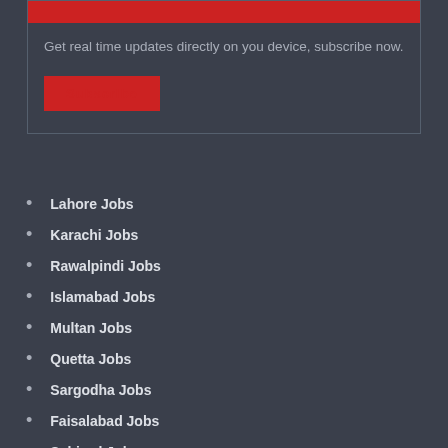Get real time updates directly on you device, subscribe now.
Subscribe
Lahore Jobs
Karachi Jobs
Rawalpindi Jobs
Islamabad Jobs
Multan Jobs
Quetta Jobs
Sargodha Jobs
Faisalabad Jobs
Sahiwal Jobs